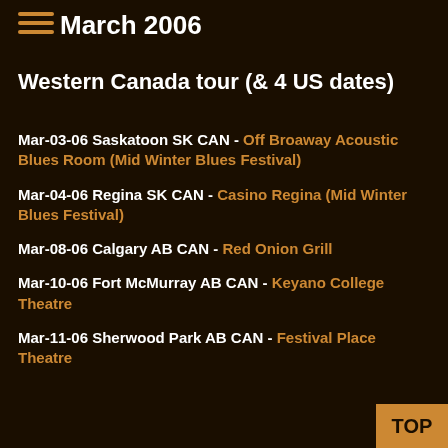March 2006
Western Canada tour (& 4 US dates)
Mar-03-06 Saskatoon SK CAN - Off Broaway Acoustic Blues Room (Mid Winter Blues Festival)
Mar-04-06 Regina SK CAN - Casino Regina (Mid Winter Blues Festival)
Mar-08-06 Calgary AB CAN - Red Onion Grill
Mar-10-06 Fort McMurray AB CAN - Keyano College Theatre
Mar-11-06 Sherwood Park AB CAN - Festival Place Theatre